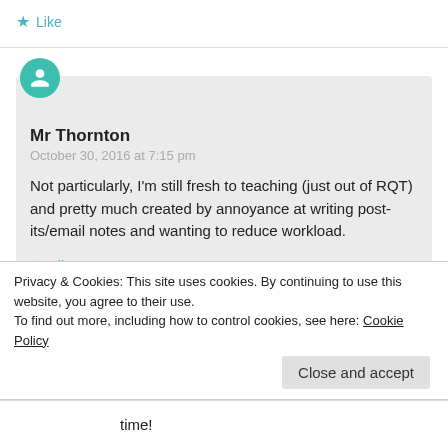Like
Mr Thornton
October 30, 2016 at 7:15 pm

Not particularly, I'm still fresh to teaching (just out of RQT) and pretty much created by annoyance at writing post-its/email notes and wanting to reduce workload.

Like
Privacy & Cookies: This site uses cookies. By continuing to use this website, you agree to their use.
To find out more, including how to control cookies, see here: Cookie Policy
Close and accept
time!